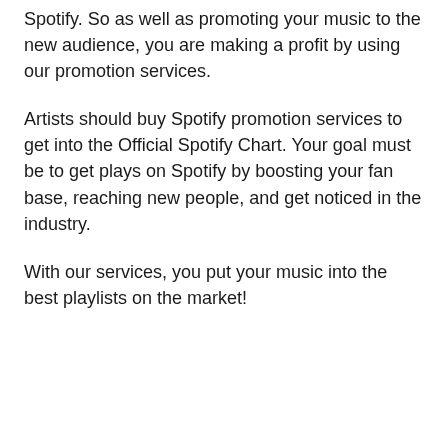Spotify. So as well as promoting your music to the new audience, you are making a profit by using our promotion services.
Artists should buy Spotify promotion services to get into the Official Spotify Chart. Your goal must be to get plays on Spotify by boosting your fan base, reaching new people, and get noticed in the industry.
With our services, you put your music into the best playlists on the market!